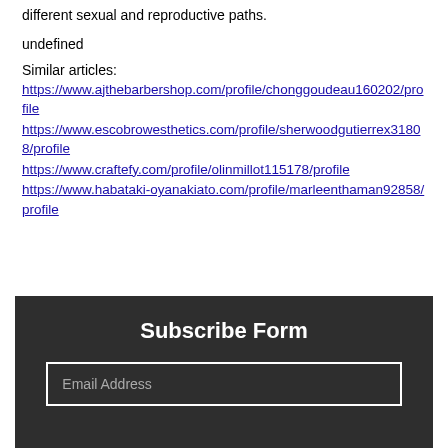different sexual and reproductive paths.
undefined
Similar articles:
https://www.ajthebarbershop.com/profile/chonggoudeau160202/profile
https://www.escobrowesthetics.com/profile/sherwoodgutierrex31808/profile
https://www.craftefy.com/profile/olinmillot115178/profile
https://www.habataki-oyanakiato.com/profile/marleenthaman92858/profile
Subscribe Form
Email Address